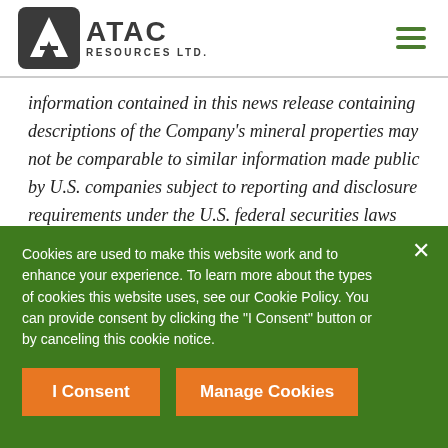[Figure (logo): ATAC Resources Ltd. logo with stylized A icon in dark rounded square, text ATAC large and RESOURCES LTD. below]
information contained in this news release containing descriptions of the Company's mineral properties may not be comparable to similar information made public by U.S. companies subject to reporting and disclosure requirements under the U.S. federal securities laws and the rules and regulations thereunder.
Additional information about the Tiger Deposit PEA is summarized in
Cookies are used to make this website work and to enhance your experience. To learn more about the types of cookies this website uses, see our Cookie Policy. You can provide consent by clicking the "I Consent" button or by canceling this cookie notice.
I Consent
Manage Cookies